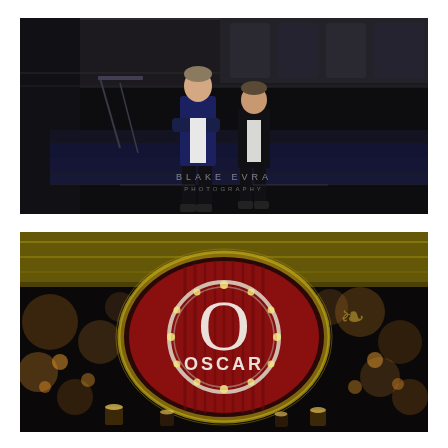[Figure (photo): Two young boys in formal attire (blazers) standing on dark carpeted steps in a dimly lit venue. One wears a navy blazer with arms crossed, the other a black blazer. A watermark reads 'BLAKE EVRA PHOTOGRAPHY' in the lower center of the image.]
[Figure (photo): A close-up bokeh shot of an event decoration featuring a red curtained oval frame with a large letter 'O' and the word 'OSCAR' in white letters, surrounded by warm glowing lights and candles in a dark venue setting with gold foil backdrop.]